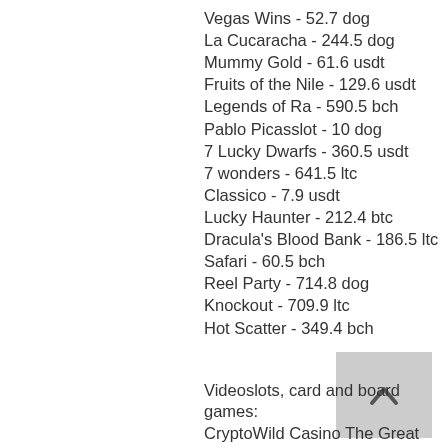Vegas Wins - 52.7 dog
La Cucaracha - 244.5 dog
Mummy Gold - 61.6 usdt
Fruits of the Nile - 129.6 usdt
Legends of Ra - 590.5 bch
Pablo Picasslot - 10 dog
7 Lucky Dwarfs - 360.5 usdt
7 wonders - 641.5 ltc
Classico - 7.9 usdt
Lucky Haunter - 212.4 btc
Dracula's Blood Bank - 186.5 ltc
Safari - 60.5 bch
Reel Party - 714.8 dog
Knockout - 709.9 ltc
Hot Scatter - 349.4 bch
[Figure (other): Back to top button with upward chevron arrow on grey background]
Videoslots, card and board games:
CryptoWild Casino The Great Wall Treasure
Cloudbet Casino Queen of Thrones
CryptoWild Casino Bars 7s
Betchain Casino Reel 7s